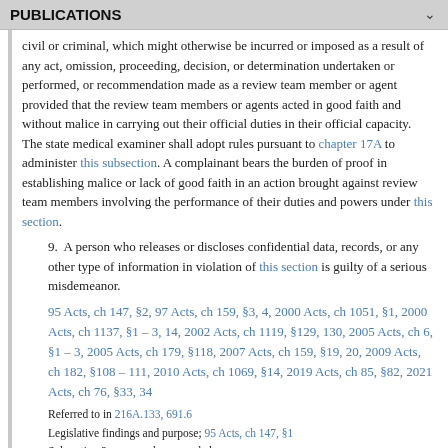PUBLICATIONS
civil or criminal, which might otherwise be incurred or imposed as a result of any act, omission, proceeding, decision, or determination undertaken or performed, or recommendation made as a review team member or agent provided that the review team members or agents acted in good faith and without malice in carrying out their official duties in their official capacity. The state medical examiner shall adopt rules pursuant to chapter 17A to administer this subsection. A complainant bears the burden of proof in establishing malice or lack of good faith in an action brought against review team members involving the performance of their duties and powers under this section.
9.  A person who releases or discloses confidential data, records, or any other type of information in violation of this section is guilty of a serious misdemeanor.
95 Acts, ch 147, §2, 97 Acts, ch 159, §3, 4, 2000 Acts, ch 1051, §1, 2000 Acts, ch 1137, §1 – 3, 14, 2002 Acts, ch 1119, §129, 130, 2005 Acts, ch 6, §1 – 3, 2005 Acts, ch 179, §118, 2007 Acts, ch 159, §19, 20, 2009 Acts, ch 182, §108 – 111, 2010 Acts, ch 1069, §14, 2019 Acts, ch 85, §82, 2021 Acts, ch 76, §33, 34
Referred to in 216A.133, 691.6
Legislative findings and purpose; 95 Acts, ch 147, §1
Subsection 2, paragraph n amended
Subsection 4, paragraph c, subparagraph (3) amended
135.44  Reserved.